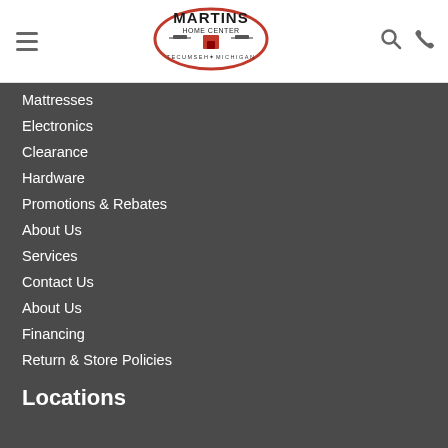[Figure (logo): Martins Home Center oval logo with Tecumseh Michigan text]
Mattresses
Electronics
Clearance
Hardware
Promotions & Rebates
About Us
Services
Contact Us
About Us
Financing
Return & Store Policies
Locations